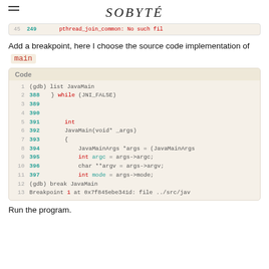SOBYTE
[Figure (screenshot): Partial code snippet showing line 45 with pthread_join_common: No such file...]
Add a breakpoint, here I choose the source code implementation of main
[Figure (screenshot): GDB code listing showing JavaMain function lines 388-397 and breakpoint command]
Run the program.